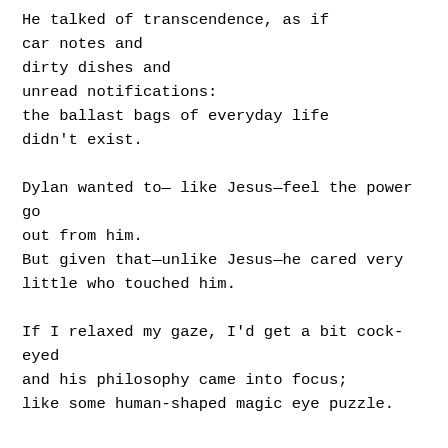He talked of transcendence, as if
car notes and
dirty dishes and
unread notifications:
the ballast bags of everyday life
didn't exist.

Dylan wanted to— like Jesus—feel the power go
out from him.
But given that—unlike Jesus—he cared very
little who touched him.

If I relaxed my gaze, I'd get a bit cock-eyed
and his philosophy came into focus;
like some human-shaped magic eye puzzle.